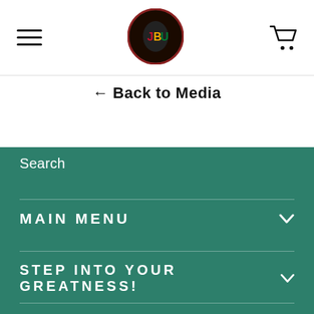[Figure (logo): JBU logo — circular badge with Africa silhouette and letters J, B, U in red, green, yellow on dark background]
← Back to Media
Search
MAIN MENU
STEP INTO YOUR GREATNESS!